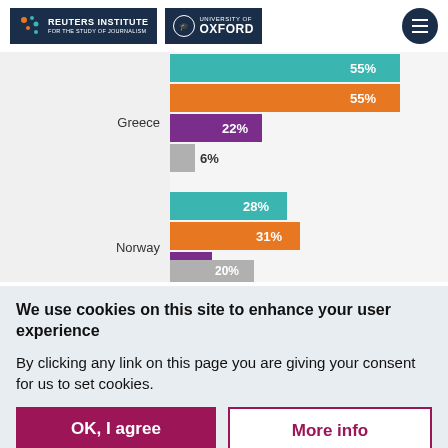[Figure (logo): Reuters Institute for the Study of Journalism and University of Oxford logos with hamburger menu]
[Figure (bar-chart): Horizontal grouped bar chart showing percentages for Greece and Norway]
We use cookies on this site to enhance your user experience
By clicking any link on this page you are giving your consent for us to set cookies.
OK, I agree
More info